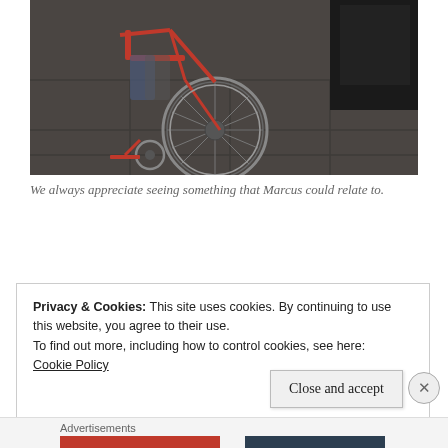[Figure (photo): A red wheelchair viewed from behind/side angle, sitting on a dark tiled floor. A dark display case or shelf is visible in the background to the right.]
We always appreciate seeing something that Marcus could relate to.
Privacy & Cookies: This site uses cookies. By continuing to use this website, you agree to their use.
To find out more, including how to control cookies, see here:
Cookie Policy
Close and accept
Advertisements